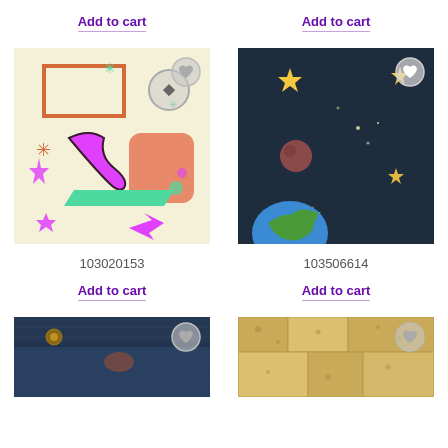Add to cart
Add to cart
[Figure (illustration): Retro pattern with colorful shapes: pink boomerang, orange rectangles, green parallelogram, pink arrows, flowers, and star bursts on a cream background]
[Figure (illustration): Space scene with dark background, yellow stars, a planet with green and blue sections, and a reddish-brown asteroid]
103020153
103506614
Add to cart
Add to cart
[Figure (illustration): Denim/jeans texture image with dark blue fabric]
[Figure (illustration): Sandy/stone texture image with beige and brown pattern]